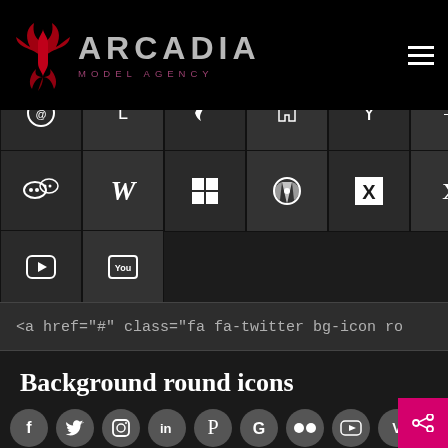[Figure (logo): Arcadia Model Agency logo with red phoenix wings and grey metallic text on black background]
[Figure (screenshot): Grid of social media icon buttons with dark square backgrounds - rows showing WeChat, Wikipedia, Windows, WordPress, XING, Xing variant, Y combinator variants, Yelp, YouTube icons]
<a href="#" class="fa fa-twitter bg-icon ro
Background round icons
[Figure (screenshot): Row of dark circular social media icons: Facebook, Twitter, Instagram, LinkedIn, Pinterest, Google, Flickr, YouTube, Vimeo, Share]